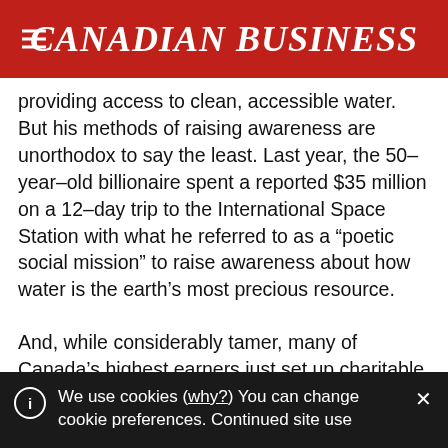CANADIAN BUSINESS
providing access to clean, accessible water. But his methods of raising awareness are unorthodox to say the least. Last year, the 50–year–old billionaire spent a reported $35 million on a 12–day trip to the International Space Station with what he referred to as a “poetic social mission” to raise awareness about how water is the earth’s most precious resource.
And, while considerably tamer, many of Canada’s highest earners just set up charitable family foundations of their own, like the Gates’s. Hundreds of
We use cookies (why?) You can change cookie preferences. Continued site use